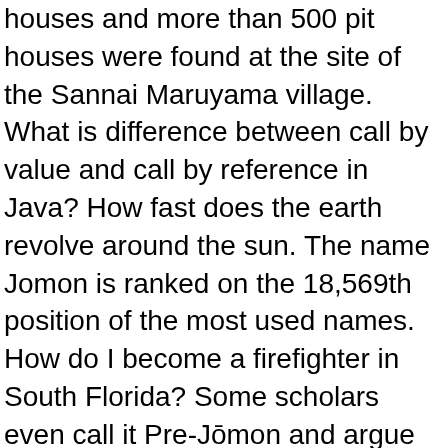houses and more than 500 pit houses were found at the site of the Sannai Maruyama village. What is difference between call by value and call by reference in Java? How fast does the earth revolve around the sun. The name Jomon is ranked on the 18,569th position of the most used names. How do I become a firefighter in South Florida? Some scholars even call it Pre-Jōmon and argue that life during this stage showed only a slight advance from that of the Paleolithic. Characters for Jōmon (meaning "cord marks" or "cord-patterned"). Click to see full answer Simply so, what were the houses in the Jomon period? These vessels dating as far back as 13,000 BCE were mostly made by women, in what is also considered one of the earliest examples of a sedentary culture. The Jomon Period is the earliest historical era of Japanese history which began around 14500 BCE, coinciding with the Neolithic Period in Europe and Asia, and ended around 300 BCE when the Yayoi Period began. There are 31 census records available for the last name Jomon. In addition, the large building with huge columns is an outstanding architectural feature of the Sannai-Maruyama site. The earliest forms of Japanese architecture